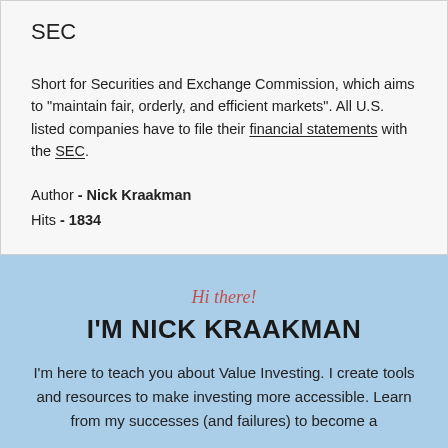SEC
Short for Securities and Exchange Commission, which aims to "maintain fair, orderly, and efficient markets". All U.S. listed companies have to file their financial statements with the SEC.
Author - Nick Kraakman
Hits - 1834
Hi there!
I'M NICK KRAAKMAN
I'm here to teach you about Value Investing. I create tools and resources to make investing more accessible. Learn from my successes (and failures) to become a